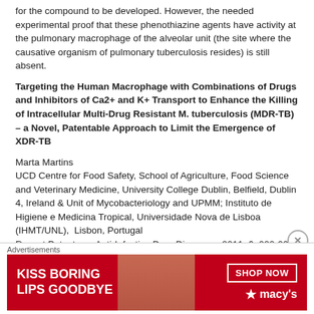for the compound to be developed. However, the needed experimental proof that these phenothiazine agents have activity at the pulmonary macrophage of the alveolar unit (the site where the causative organism of pulmonary tuberculosis resides) is still absent.
Targeting the Human Macrophage with Combinations of Drugs and Inhibitors of Ca2+ and K+ Transport to Enhance the Killing of Intracellular Multi-Drug Resistant M. tuberculosis (MDR-TB) – a Novel, Patentable Approach to Limit the Emergence of XDR-TB
Marta Martins
UCD Centre for Food Safety, School of Agriculture, Food Science and Veterinary Medicine, University College Dublin, Belfield, Dublin 4, Ireland & Unit of Mycobacteriology and UPMM; Instituto de Higiene e Medicina Tropical, Universidade Nova de Lisboa (IHMT/UNL),  Lisbon, Portugal
Recent Patents on Anti-Infective Drug Discovery, 2011, 6, 000-000
The emergence of resistance in Tuberculosis has become a serious problem for the control of this disease. For that reason, new therapeutic
[Figure (photo): Advertisement banner for Macy's lipstick promotion reading 'KISS BORING LIPS GOODBYE' with 'SHOP NOW' button and Macy's star logo on red background with a woman's face]